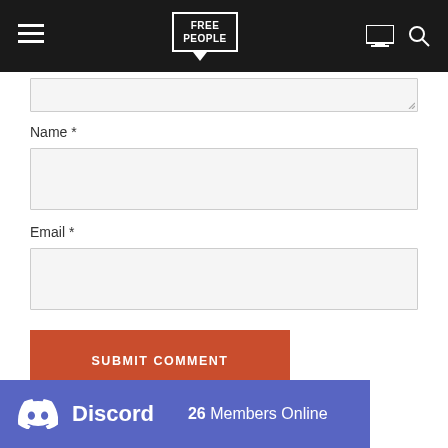[Figure (screenshot): Website navigation bar with hamburger menu, Free People logo in speech bubble, monitor icon, and search icon on dark background]
Name *
Email *
SUBMIT COMMENT
[Figure (logo): Discord banner showing Discord logo and '26 Members Online' text on purple/blue background]